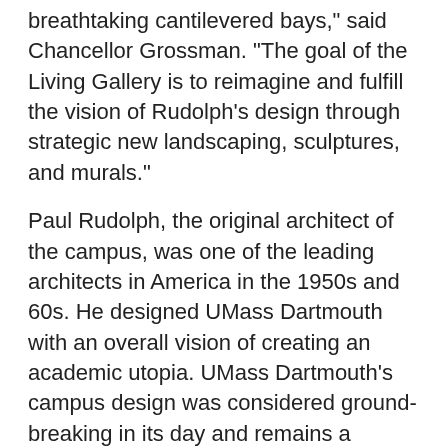Dartmouth, reflected in the imposing buildings with breathtaking cantilevered bays," said Chancellor Grossman. "The goal of the Living Gallery is to reimagine and fulfill the vision of Rudolph's design through strategic new landscaping, sculptures, and murals."
Paul Rudolph, the original architect of the campus, was one of the leading architects in America in the 1950s and 60s. He designed UMass Dartmouth with an overall vision of creating an academic utopia. UMass Dartmouth's campus design was considered ground-breaking in its day and remains a monumental achievement. The recent renovation of the Claire T. Carney Library has won numerous architecture awards.
"Gerry's Window" will be followed by a series of pilot projects this year, which will include scheduled lightings